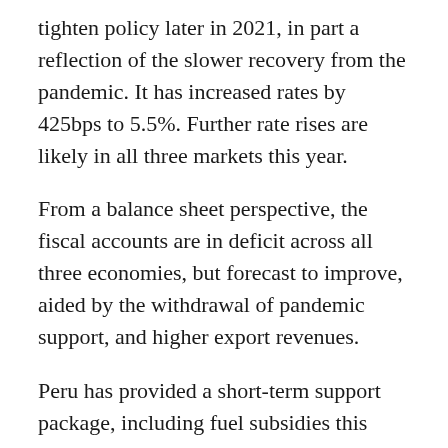tighten policy later in 2021, in part a reflection of the slower recovery from the pandemic. It has increased rates by 425bps to 5.5%. Further rate rises are likely in all three markets this year.
From a balance sheet perspective, the fiscal accounts are in deficit across all three economies, but forecast to improve, aided by the withdrawal of pandemic support, and higher export revenues.
Peru has provided a short-term support package, including fuel subsidies this year, but the impact is small. Colombia has a more persistent and sizeable fiscal deficit. While some consolidation is expected for this year, several Covid-related support has been extended for 2022. The modest tax reform agreed last year